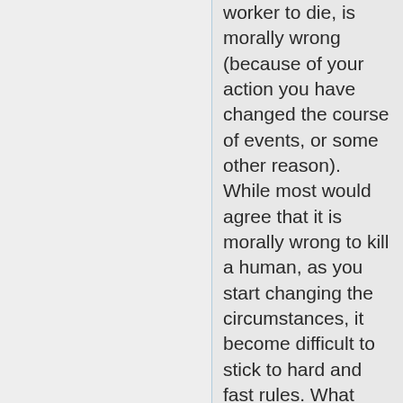worker to die, is morally wrong (because of your action you have changed the course of events, or some other reason). While most would agree that it is morally wrong to kill a human, as you start changing the circumstances, it become difficult to stick to hard and fast rules. What about abortion of a foetus, abortion where a life-limiting condition is detected, use of